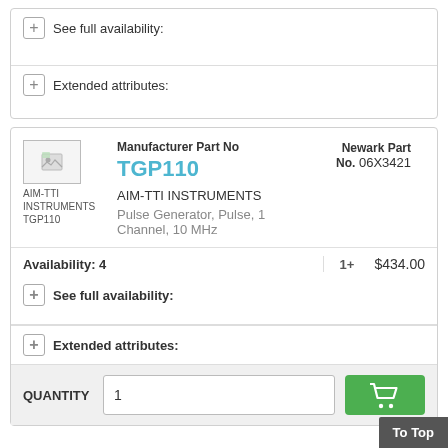+ See full availability:
+ Extended attributes:
[Figure (logo): AIM-TTI INSTRUMENTS TGP110 product image placeholder]
Manufacturer Part No
TGP110
Newark Part No. 06X3421
AIM-TTI INSTRUMENTS
Pulse Generator, Pulse, 1 Channel, 10 MHz
Availability: 4
1+
$434.00
+ See full availability:
+ Extended attributes:
QUANTITY   1
To Top